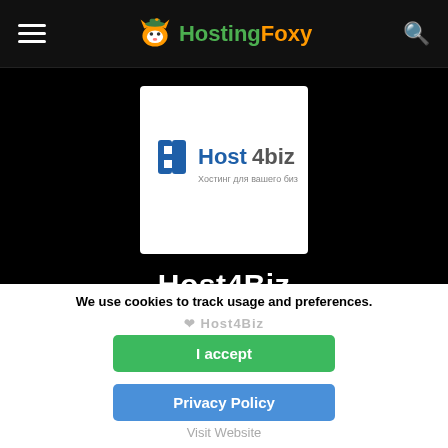HostingFoxy — navigation header with hamburger menu and search icon
[Figure (logo): Host4biz logo — blue H icon with 'Host4biz' text and Cyrillic subtitle 'Хостинг для вашего бизнеса' on white background]
Host4Biz
[Figure (other): Five green star rating boxes (Trustpilot-style)]
5.00/5.00
- based on 29 reviews
We use cookies to track usage and preferences.
I accept
Privacy Policy
Visit Website